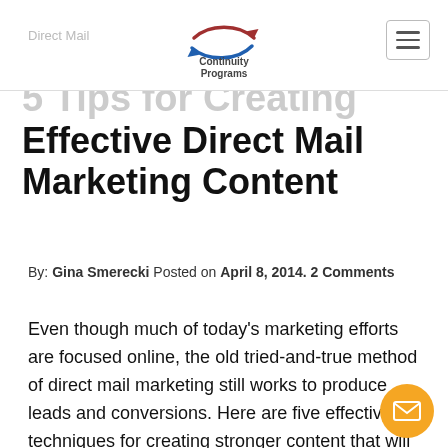Direct Mail | Continuity Programs [logo] [menu]
5 Tips for Creating Effective Direct Mail Marketing Content
By: Gina Smerecki Posted on April 8, 2014. 2 Comments
Even though much of today's marketing efforts are focused online, the old tried-and-true method of direct mail marketing still works to produce leads and conversions. Here are five effective techniques for creating stronger content that will capture attention and convince readers to take the